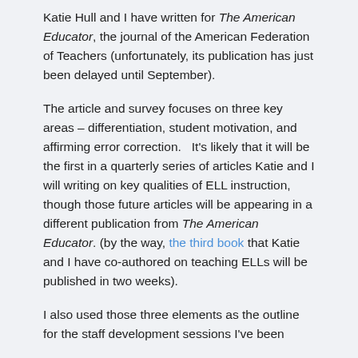Katie Hull and I have written for The American Educator, the journal of the American Federation of Teachers (unfortunately, its publication has just been delayed until September).
The article and survey focuses on three key areas – differentiation, student motivation, and affirming error correction.   It's likely that it will be the first in a quarterly series of articles Katie and I will writing on key qualities of ELL instruction, though those future articles will be appearing in a different publication from The American Educator. (by the way, the third book that Katie and I have co-authored on teaching ELLs will be published in two weeks).
I also used those three elements as the outline for the staff development sessions I've been